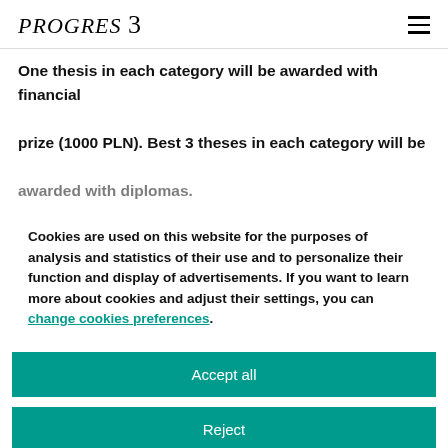PROGRES 3
One thesis in each category will be awarded with financial prize (1000 PLN). Best 3 theses in each category will be awarded with diplomas.
Cookies are used on this website for the purposes of analysis and statistics of their use and to personalize their function and display of advertisements. If you want to learn more about cookies and adjust their settings, you can change cookies preferences.
Accept all
Reject